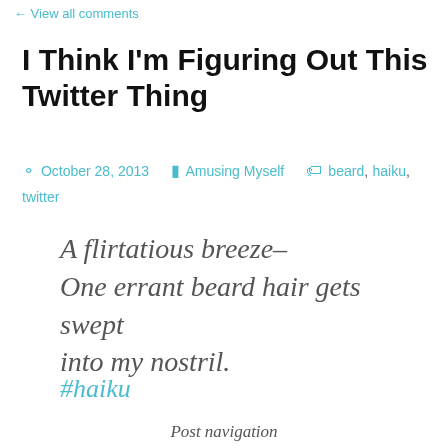← View all comments
I Think I'm Figuring Out This Twitter Thing
October 28, 2013   Amusing Myself   beard, haiku, twitter
A flirtatious breeze–
One errant beard hair gets swept into my nostril.
#haiku
Post navigation